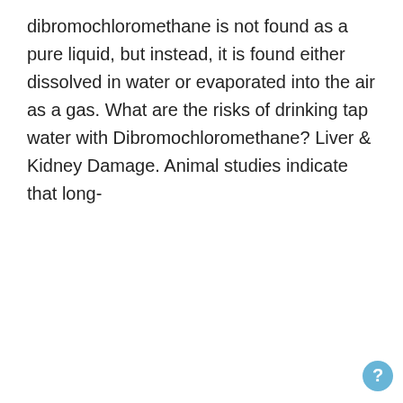dibromochloromethane is not found as a pure liquid, but instead, it is found either dissolved in water or evaporated into the air as a gas. What are the risks of drinking tap water with Dibromochloromethane? Liver & Kidney Damage. Animal studies indicate that long-
Want the Complete 2022 Home Water Quality Guide for Free?
Enter your email address
Download Now